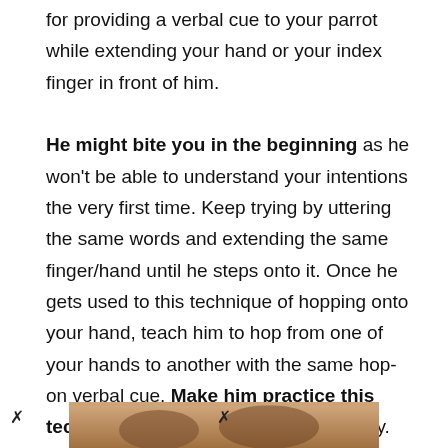for providing a verbal cue to your parrot while extending your hand or your index finger in front of him.

He might bite you in the beginning as he won't be able to understand your intentions the very first time. Keep trying by uttering the same words and extending the same finger/hand until he steps onto it. Once he gets used to this technique of hopping onto your hand, teach him to hop from one of your hands to another with the same hop-on verbal cue. Make him practice this technique until he masters it completely.
[Figure (photo): Partial view of a photo at the bottom of the page, appearing to show a parrot or bird-related image with warm brown tones.]